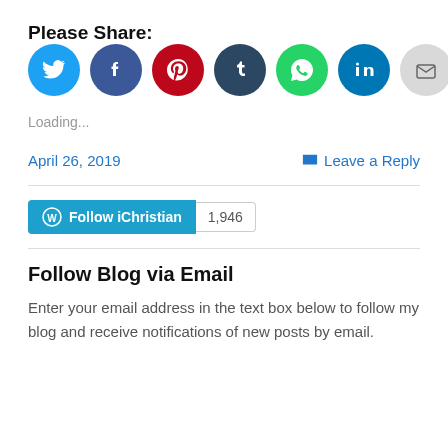Please Share:
[Figure (infographic): Row of 8 social share icon circles: Twitter (blue), Facebook (dark blue), Pinterest (red), Tumblr (dark navy), WhatsApp (green), LinkedIn (blue), Email (light gray), Print (light gray)]
Loading...
April 26, 2019
Leave a Reply
[Figure (infographic): WordPress Follow button labeled 'Follow iChristian' in teal/blue with count badge showing 1,946]
Follow Blog via Email
Enter your email address in the text box below to follow my blog and receive notifications of new posts by email.